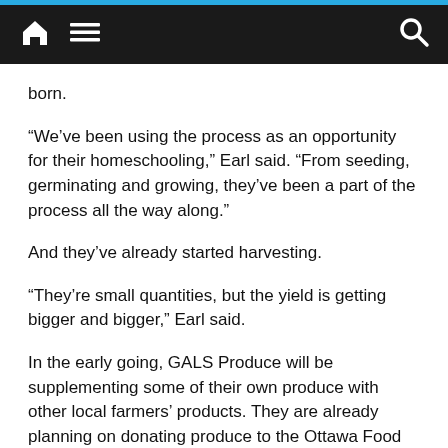Navigation bar with home, menu, and search icons
born.
“We’ve been using the process as an opportunity for their homeschooling,” Earl said. “From seeding, germinating and growing, they’ve been a part of the process all the way along.”
And they’ve already started harvesting.
“They’re small quantities, but the yield is getting bigger and bigger,” Earl said.
In the early going, GALS Produce will be supplementing some of their own produce with other local farmers’ products. They are already planning on donating produce to the Ottawa Food Bank, local soup kitchens and farmers’ markets in the near future.
In the meantime, the GALS Produce website launched...